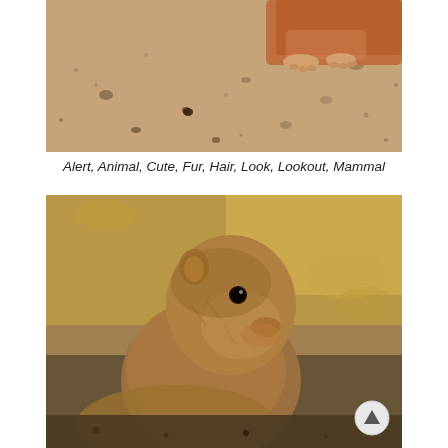[Figure (photo): Close-up photo of a prairie dog or ground squirrel at ground level on sandy, gravelly terrain. Only the lower body and paws are visible at the top, with the sandy ground filling most of the frame.]
Alert, Animal, Cute, Fur, Hair, Look, Lookout, Mammal
[Figure (photo): Close-up portrait photo of a prairie dog (black-tailed prairie dog) looking upward to the left. The animal has brown fur, a small black eye, and is set against a blurred sandy/rocky background.]